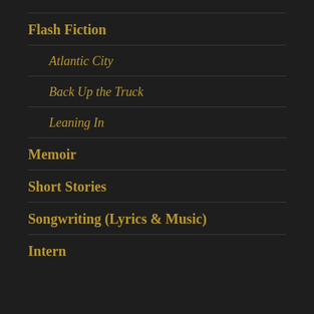Flash Fiction
Atlantic City
Back Up the Truck
Leaning In
Memoir
Short Stories
Songwriting (Lyrics & Music)
Intern